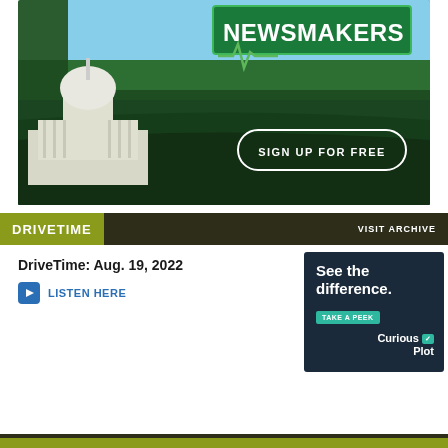[Figure (illustration): Agriculture Newsmakers banner advertisement featuring the US Capitol building superimposed on a green farm field with the text NEWSMAKERS and a SIGN UP FOR FREE button]
DRIVETIME   VISIT ARCHIVE
DriveTime: Aug. 19, 2022
LISTEN HERE
[Figure (advertisement): Dark blue advertisement for Curious Plot with text 'See the difference.' and a TAKE A PEEK button]